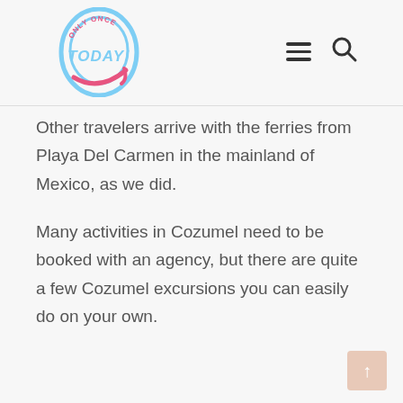Only Once Today logo, hamburger menu, search icon
Other travelers arrive with the ferries from Playa Del Carmen in the mainland of Mexico, as we did.
Many activities in Cozumel need to be booked with an agency, but there are quite a few Cozumel excursions you can easily do on your own.